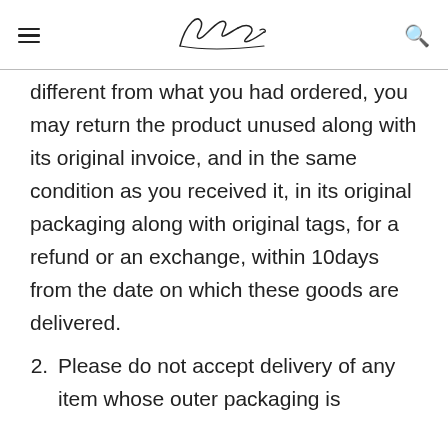Neelam Mirsa [logo/signature]
different from what you had ordered, you may return the product unused along with its original invoice, and in the same condition as you received it, in its original packaging along with original tags, for a refund or an exchange, within 10days from the date on which these goods are delivered.
2. Please do not accept delivery of any item whose outer packaging is